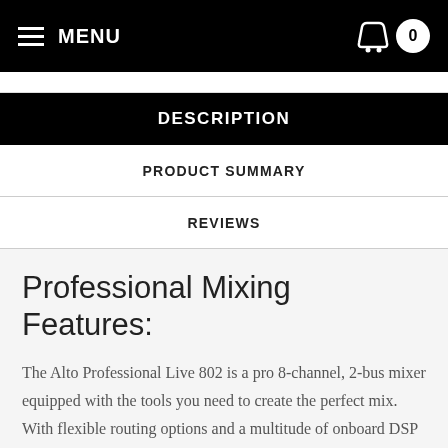MENU  0
DESCRIPTION
PRODUCT SUMMARY
REVIEWS
Professional Mixing Features:
The Alto Professional Live 802 is a pro 8-channel, 2-bus mixer equipped with the tools you need to create the perfect mix. With flexible routing options and a multitude of onboard DSP tools, Live 802 fits the